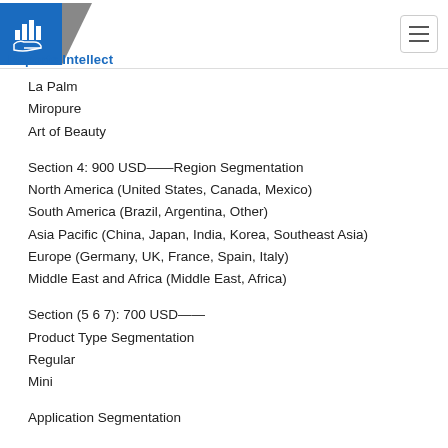Reports Intellect
La Palm
Miropure
Art of Beauty
Section 4: 900 USD——Region Segmentation
North America (United States, Canada, Mexico)
South America (Brazil, Argentina, Other)
Asia Pacific (China, Japan, India, Korea, Southeast Asia)
Europe (Germany, UK, France, Spain, Italy)
Middle East and Africa (Middle East, Africa)
Section (5 6 7): 700 USD——
Product Type Segmentation
Regular
Mini
Application Segmentation